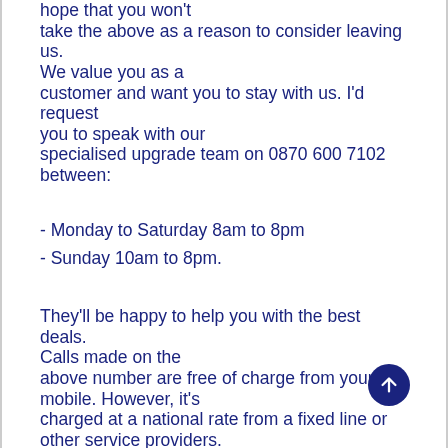hope that you won't take the above as a reason to consider leaving us. We value you as a customer and want you to stay with us. I'd request you to speak with our specialised upgrade team on 0870 600 7102 between:
- Monday to Saturday 8am to 8pm
- Sunday 10am to 8pm.
They'll be happy to help you with the best deals. Calls made on the above number are free of charge from your O2 mobile. However, it's charged at a national rate from a fixed line or other service providers.